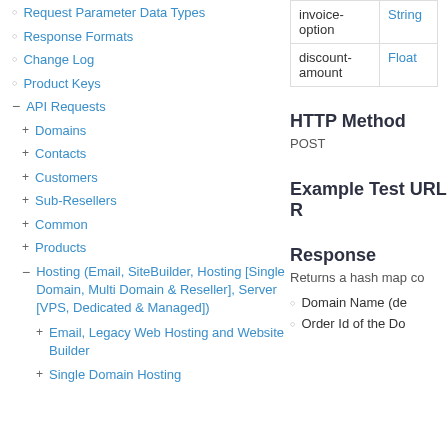Request Parameter Data Types
Response Formats
Change Log
Product Keys
API Requests
Domains
Contacts
Customers
Sub-Resellers
Common
Products
Hosting (Email, SiteBuilder, Hosting [Single Domain, Multi Domain & Reseller], Server [VPS, Dedicated & Managed])
Email, Legacy Web Hosting and Website Builder
Single Domain Hosting
| Parameter | Type |
| --- | --- |
| invoice-option | String |
| discount-amount | Float |
HTTP Method
POST
Example Test URL R
Response
Returns a hash map co
Domain Name (de
Order Id of the Do